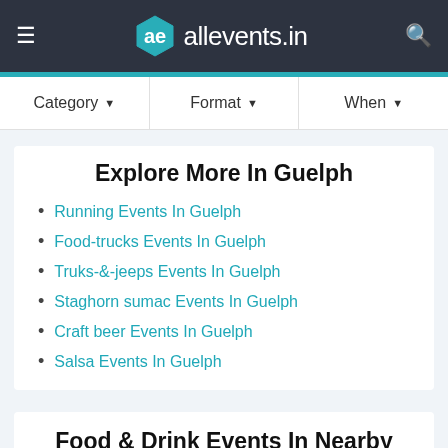allevents.in
Category ▼  Format ▼  When ▼
Explore More In Guelph
Running Events In Guelph
Food-trucks Events In Guelph
Truks-&-jeeps Events In Guelph
Staghorn sumac Events In Guelph
Craft beer Events In Guelph
Salsa Events In Guelph
Food & Drink Events In Nearby